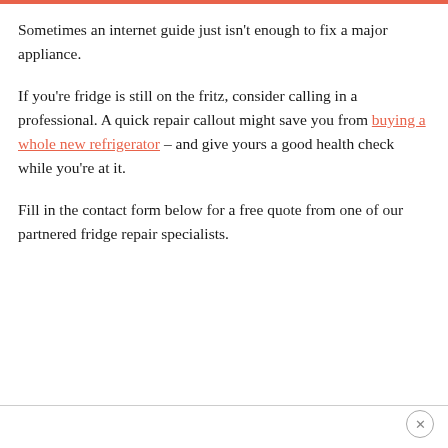Sometimes an internet guide just isn’t enough to fix a major appliance.
If you’re fridge is still on the fritz, consider calling in a professional. A quick repair callout might save you from buying a whole new refrigerator – and give yours a good health check while you’re at it.
Fill in the contact form below for a free quote from one of our partnered fridge repair specialists.